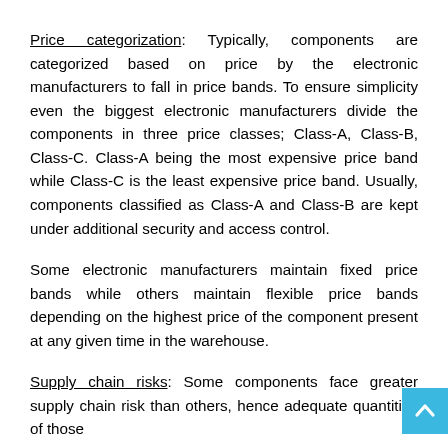Price categorization: Typically, components are categorized based on price by the electronic manufacturers to fall in price bands. To ensure simplicity even the biggest electronic manufacturers divide the components in three price classes; Class-A, Class-B, Class-C. Class-A being the most expensive price band while Class-C is the least expensive price band. Usually, components classified as Class-A and Class-B are kept under additional security and access control.
Some electronic manufacturers maintain fixed price bands while others maintain flexible price bands depending on the highest price of the component present at any given time in the warehouse.
Supply chain risks: Some components face greater supply chain risk than others, hence adequate quantities of those components must be maintained in the warehouse for which...